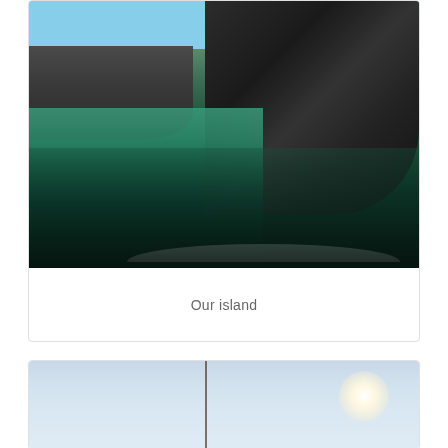[Figure (photo): Photograph of a rocky coastal island with clear turquoise and dark water in the foreground, taken from a boat. Rocky cliffs dominate the right side, blue sky visible at top.]
Our island
[Figure (photo): Partial photograph showing bright sky with sun glare and what appears to be a mast or rope line, taken from a boat.]